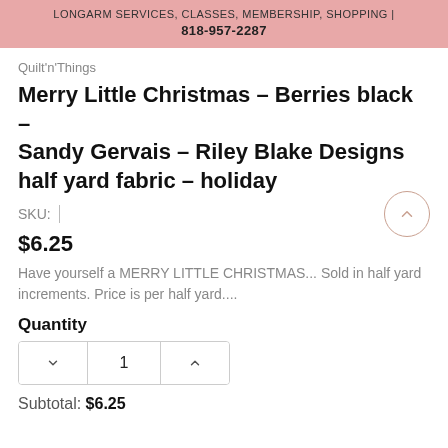LONGARM SERVICES, CLASSES, MEMBERSHIP, SHOPPING | 818-957-2287
Quilt'n'Things
Merry Little Christmas - Berries black - Sandy Gervais - Riley Blake Designs half yard fabric - holiday
SKU:
$6.25
Have yourself a MERRY LITTLE CHRISTMAS... Sold in half yard increments. Price is per half yard....
Quantity
1
Subtotal: $6.25